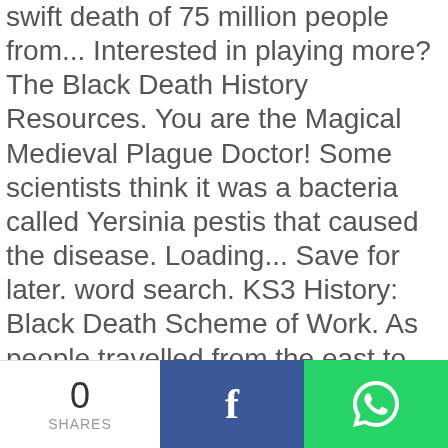swift death of 75 million people from... Interested in playing more? The Black Death History Resources. You are the Magical Medieval Plague Doctor! Some scientists think it was a bacteria called Yersinia pestis that caused the disease. Loading... Save for later. word search. KS3 History: Black Death Scheme of Work. As people travelled from the east to the west, along the Silk Road, they brought the disease with them to Europe. What caused the Black Death? plaguePlague Rat Jump GameHelp the flea carrying rat jump from post to post and get ashore. We provide high-quality teaching and revision materials for UK and … Find out more. These are lessons 1-10 and the remaining lessons will be uploaded on the
0 SHARES [Facebook share] [WhatsApp share]